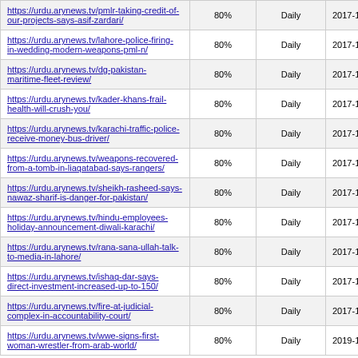| https://urdu.arynews.tv/pmlr-taking-credit-of-our-projects-says-asif-zardari/ | 80% | Daily | 2017-10-16 16:16 |
| https://urdu.arynews.tv/lahore-police-firing-in-wedding-modern-weapons-pml-n/ | 80% | Daily | 2017-10-16 16:03 |
| https://urdu.arynews.tv/dg-pakistan-maritime-fleet-review/ | 80% | Daily | 2017-10-16 15:43 |
| https://urdu.arynews.tv/kader-khans-frail-health-will-crush-you/ | 80% | Daily | 2017-10-16 16:02 |
| https://urdu.arynews.tv/karachi-traffic-police-receive-money-bus-driver/ | 80% | Daily | 2017-10-16 17:14 |
| https://urdu.arynews.tv/weapons-recovered-from-a-tomb-in-liaqatabad-says-rangers/ | 80% | Daily | 2017-10-16 15:59 |
| https://urdu.arynews.tv/sheikh-rasheed-says-nawaz-sharif-is-danger-for-pakistan/ | 80% | Daily | 2017-10-16 14:54 |
| https://urdu.arynews.tv/hindu-employees-holiday-announcement-diwali-karachi/ | 80% | Daily | 2017-10-16 14:15 |
| https://urdu.arynews.tv/rana-sana-ullah-talk-to-media-in-lahore/ | 80% | Daily | 2017-10-16 15:43 |
| https://urdu.arynews.tv/ishaq-dar-says-direct-investment-increased-up-to-150/ | 80% | Daily | 2017-10-16 14:09 |
| https://urdu.arynews.tv/fire-at-judicial-complex-in-accountability-court/ | 80% | Daily | 2017-10-16 14:00 |
| https://urdu.arynews.tv/wwe-signs-first-woman-wrestler-from-arab-world/ | 80% | Daily | 2019-10-14 11:23 |